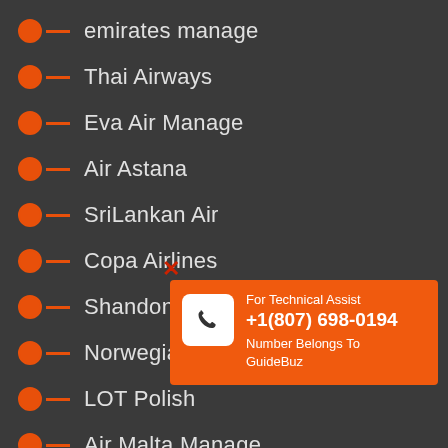emirates manage
Thai Airways
Eva Air Manage
Air Astana
SriLankan Air
Copa Airlines
Shandong Air
Norwegian Air Shuttle
LOT Polish
Air Malta Manage
Japan Airlines
[Figure (infographic): Orange popup overlay showing phone support info: 'For Technical Assist +1(807) 698-0194 Number Belongs To GuideBuz' with a phone icon in white box and a red X close button]